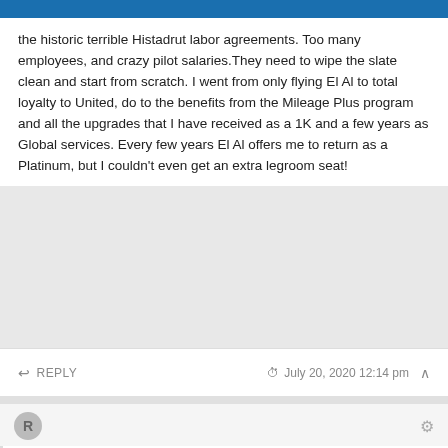BanisDeals
the historic terrible Histadrut labor agreements. Too many employees, and crazy pilot salaries.They need to wipe the slate clean and start from scratch. I went from only flying El Al to total loyalty to United, do to the benefits from the Mileage Plus program and all the upgrades that I have received as a 1K and a few years as Global services. Every few years El Al offers me to return as a Platinum, but I couldn't even get an extra legroom seat!
REPLY   July 20, 2020 12:14 pm
R
El Al's product is the fundamental problem. While there are some people who want to fly El Al for safety purposes or for supporting Israel, at the end of the day, the DL and UA offerings are just better if you are looking at it purely on the product. This is the case in Coach or Business.
Now granted, El Al did upgrade the business class seats and